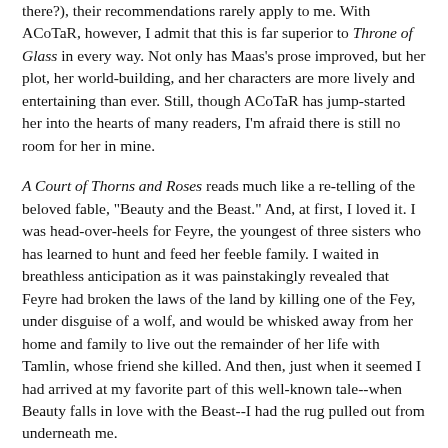there?), their recommendations rarely apply to me. With ACoTaR, however, I admit that this is far superior to Throne of Glass in every way. Not only has Maas's prose improved, but her plot, her world-building, and her characters are more lively and entertaining than ever. Still, though ACoTaR has jump-started her into the hearts of many readers, I'm afraid there is still no room for her in mine.
A Court of Thorns and Roses reads much like a re-telling of the beloved fable, "Beauty and the Beast." And, at first, I loved it. I was head-over-heels for Feyre, the youngest of three sisters who has learned to hunt and feed her feeble family. I waited in breathless anticipation as it was painstakingly revealed that Feyre had broken the laws of the land by killing one of the Fey, under disguise of a wolf, and would be whisked away from her home and family to live out the remainder of her life with Tamlin, whose friend she killed. And then, just when it seemed I had arrived at my favorite part of this well-known tale--when Beauty falls in love with the Beast--I had the rug pulled out from underneath me.
You see, Tamlin is no Beast. Tamlin, despite the mask